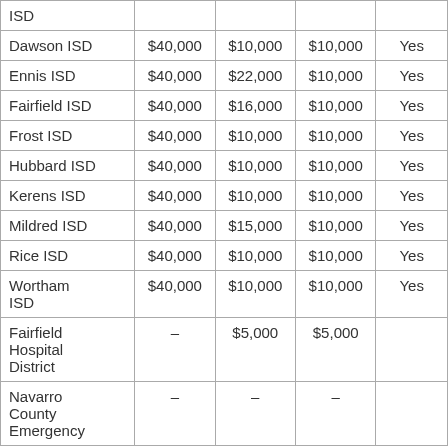| ISD |  |  |  |  |
| Dawson ISD | $40,000 | $10,000 | $10,000 | Yes |
| Ennis ISD | $40,000 | $22,000 | $10,000 | Yes |
| Fairfield ISD | $40,000 | $16,000 | $10,000 | Yes |
| Frost ISD | $40,000 | $10,000 | $10,000 | Yes |
| Hubbard ISD | $40,000 | $10,000 | $10,000 | Yes |
| Kerens ISD | $40,000 | $10,000 | $10,000 | Yes |
| Mildred ISD | $40,000 | $15,000 | $10,000 | Yes |
| Rice ISD | $40,000 | $10,000 | $10,000 | Yes |
| Wortham ISD | $40,000 | $10,000 | $10,000 | Yes |
| Fairfield Hospital District | – | $5,000 | $5,000 |  |
| Navarro County Emergency | – | – | – |  |